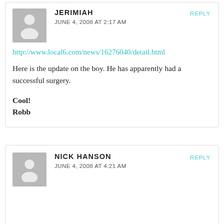JERIMIAH
JUNE 4, 2008 AT 2:17 AM
REPLY
http://www.local6.com/news/16276040/detail.html
Here is the update on the boy. He has apparently had a successful surgery.
Cool!
Robb
NICK HANSON
JUNE 4, 2008 AT 4:21 AM
REPLY